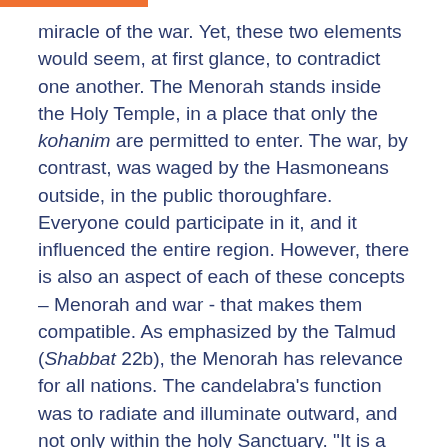miracle of the war. Yet, these two elements would seem, at first glance, to contradict one another. The Menorah stands inside the Holy Temple, in a place that only the kohanim are permitted to enter. The war, by contrast, was waged by the Hasmoneans outside, in the public thoroughfare. Everyone could participate in it, and it influenced the entire region. However, there is also an aspect of each of these concepts – Menorah and war - that makes them compatible. As emphasized by the Talmud (Shabbat 22b), the Menorah has relevance for all nations. The candelabra's function was to radiate and illuminate outward, and not only within the holy Sanctuary. "It is a testimony to the people of the world that the Divine Presence rests among the people of Israel." On the other hand, the Hasmoneans, who fought the war outside of the Temple, did so in order to purify